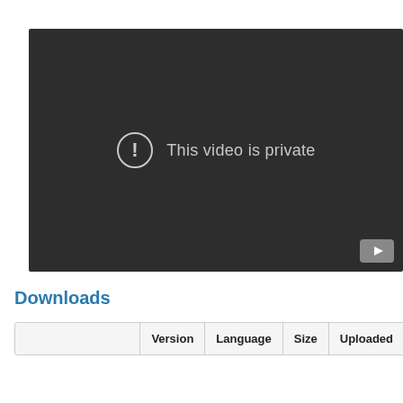[Figure (screenshot): Dark video player showing 'This video is private' message with exclamation icon and a YouTube play button in the bottom-right corner]
Downloads
|  | Version | Language | Size | Uploaded |
| --- | --- | --- | --- | --- |